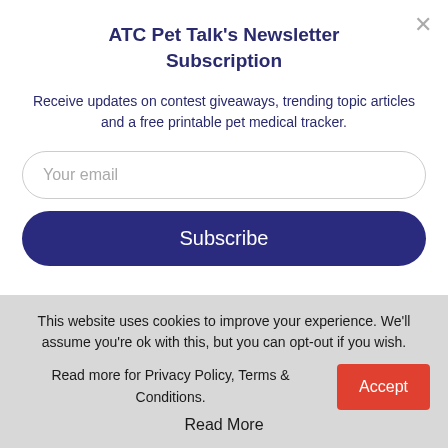ATC Pet Talk's Newsletter Subscription
Receive updates on contest giveaways, trending topic articles and a free printable pet medical tracker.
[Figure (screenshot): Email input field with placeholder text 'Your email']
[Figure (screenshot): Subscribe button with dark blue background and white text]
Thank you for stopping by, we hope to see you again soon!
[Figure (screenshot): Social media icons row: Facebook (dark blue), Twitter (light blue), another (purple), another (blue)]
This website uses cookies to improve your experience. We'll assume you're ok with this, but you can opt-out if you wish. Read more for Privacy Policy, Terms & Conditions.
Accept
Read More